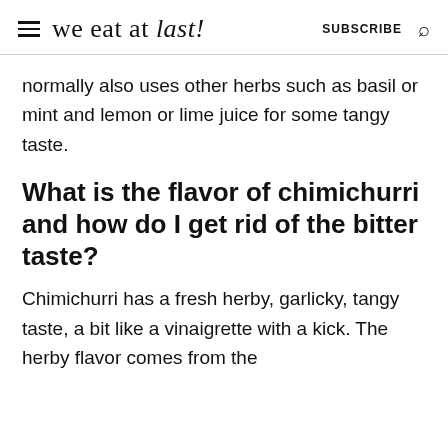we eat at last! SUBSCRIBE
normally also uses other herbs such as basil or mint and lemon or lime juice for some tangy taste.
What is the flavor of chimichurri and how do I get rid of the bitter taste?
Chimichurri has a fresh herby, garlicky, tangy taste, a bit like a vinaigrette with a kick. The herby flavor comes from the